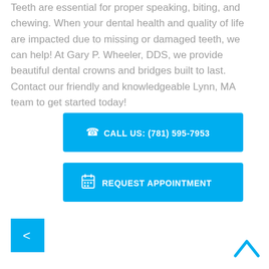Teeth are essential for proper speaking, biting, and chewing. When your dental health and quality of life are impacted due to missing or damaged teeth, we can help! At Gary P. Wheeler, DDS, we provide beautiful dental crowns and bridges built to last. Contact our friendly and knowledgeable Lynn, MA team to get started today!
[Figure (other): Blue button with phone icon and text: CALL US: (781) 595-7953]
[Figure (other): Blue button with calendar icon and text: REQUEST APPOINTMENT]
[Figure (other): Blue square back navigation button with < arrow]
[Figure (other): Blue upward chevron arrow for scroll to top]